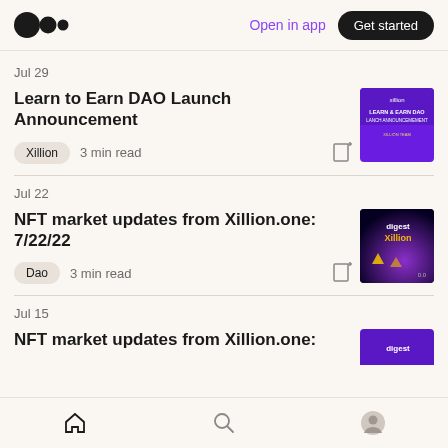Open in app  Get started
Jul 29
Learn to Earn DAO Launch Announcement
Xillion  3 min read
Jul 22
NFT market updates from Xillion.one: 7/22/22
Dao  3 min read
Jul 15
NFT market updates from Xillion.one: